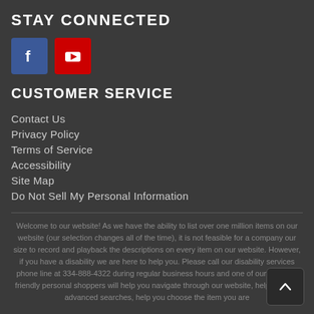STAY CONNECTED
[Figure (other): Social media icons: Facebook (blue square with 'f') and YouTube (red square with play button)]
CUSTOMER SERVICE
Contact Us
Privacy Policy
Terms of Service
Accessibility
Site Map
Do Not Sell My Personal Information
Welcome to our website! As we have the ability to list over one million items on our website (our selection changes all of the time), it is not feasible for a company our size to record and playback the descriptions on every item on our website. However, if you have a disability we are here to help you. Please call our disability services phone line at 334-888-4322 during regular business hours and one of our kind and friendly personal shoppers will help you navigate through our website, help conduct advanced searches, help you choose the item you are